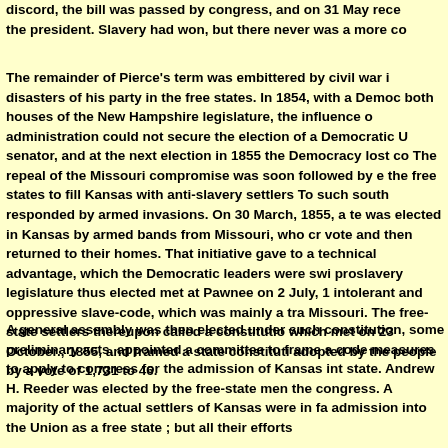discord, the bill was passed by congress, and on 31 May rece the president. Slavery had won, but there never was a more co
The remainder of Pierce's term was embittered by civil war i disasters of his party in the free states. In 1854, with a Demo both houses of the New Hampshire legislature, the influence o administration could not secure the election of a Democratic senator, and at the next election in 1855 the Democracy lost c The repeal of the Missouri compromise was soon followed by the free states to fill Kansas with anti-slavery settlers To such south responded by armed invasions. On 30 March, 1855, a te was elected in Kansas by armed bands from Missouri, who cr vote and then returned to their homes. That initiative gave to a technical advantage, which the Democratic leaders were swi proslavery legislature thus elected met at Pawnee on 2 July, 1 intolerant and oppressive slave-code, which was mainly a tra Missouri. The free-state settlers thereupon called a constitutio which met on 23 October., 1855, and framed a state constituti adopted by the people by a vote of 1,731 to 46.
A general assembly was then elected under such constitution, some preliminary acts, appointed a committee to frame a cod measures to apply to congress for the admission of Kansas int state. Andrew H. Reeder was elected by the free-state men the congress. A majority of the actual settlers of Kansas were in fa admission into the Union as a free state ; but all their efforts